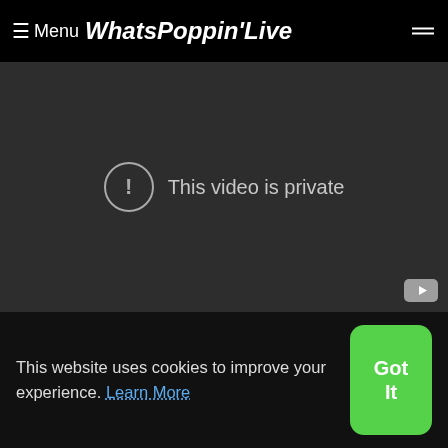≡ Menu WhatsPoppinʼLive
[Figure (screenshot): Video player showing 'This video is private' message with exclamation icon on dark background]
A pastor love affair unfolds drama in Kariobangi S
Future ft. Kelly Rowland - Neva End (Remix) [Offic
This website uses cookies to improve your experience. Learn More
Got It